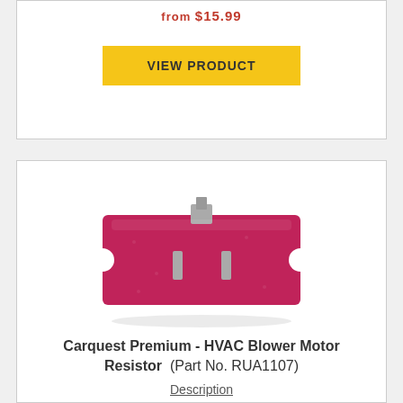from $15.99 (truncated/partially visible at top)
VIEW PRODUCT
[Figure (photo): Photo of a Carquest Premium HVAC Blower Motor Resistor (Part No. RUA1107) — a rectangular pink/red component with notched corners and metal terminal pins on the surface.]
Carquest Premium - HVAC Blower Motor Resistor (Part No. RUA1107)
Description
from $15.99
VIEW PRODUCT